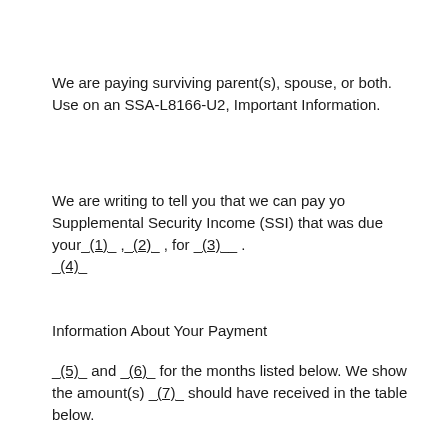We are paying surviving parent(s), spouse, or both. Use on an SSA-L8166-U2, Important Information.
We are writing to tell you that we can pay yo Supplemental Security Income (SSI) that was due your__(1)__ ,__(2)__ , for _(3)__ . _(4)_
Information About Your Payment
_(5)_ and _(6)_ for the months listed below. We show the amount(s) _(7)_ should have received in the table below.